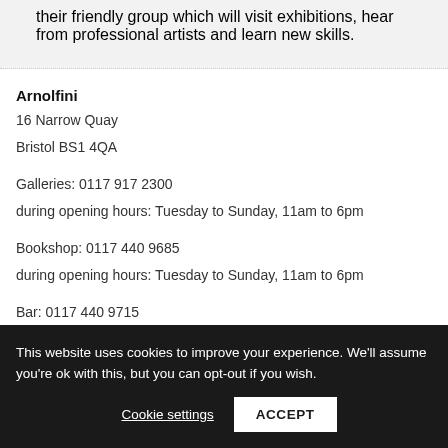their friendly group which will visit exhibitions, hear from professional artists and learn new skills.
Arnolfini
16 Narrow Quay
Bristol BS1 4QA
Galleries: 0117 917 2300
during opening hours: Tuesday to Sunday, 11am to 6pm
Bookshop: 0117 440 9685
during opening hours: Tuesday to Sunday, 11am to 6pm
Bar: 0117 440 9715
This website uses cookies to improve your experience. We'll assume you're ok with this, but you can opt-out if you wish.
Cookie settings
ACCEPT